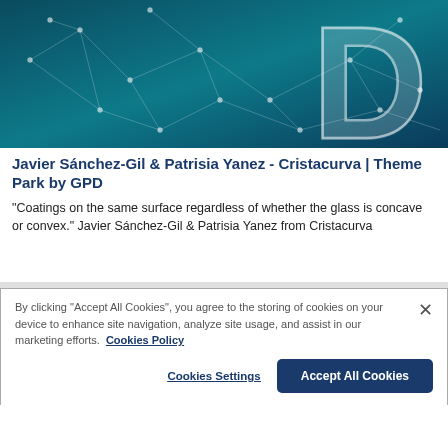[Figure (illustration): Dark teal background with white geometric network lines and nodes, partial white 'D' letter shape visible, digital/tech theme header image.]
Javier Sánchez-Gil & Patrisia Yanez - Cristacurva | Theme Park by GPD
“Coatings on the same surface regardless of whether the glass is concave or convex.” Javier Sánchez-Gil & Patrisia Yanez from Cristacurva
By clicking “Accept All Cookies”, you agree to the storing of cookies on your device to enhance site navigation, analyze site usage, and assist in our marketing efforts.  Cookies Policy
Cookies Settings | Accept All Cookies